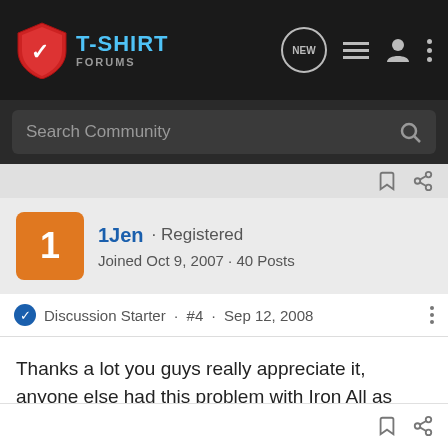T-SHIRT FORUMS
Search Community
1Jen · Registered
Joined Oct 9, 2007 · 40 Posts
Discussion Starter · #4 · Sep 12, 2008
Thanks a lot you guys really appreciate it, anyone else had this problem with Iron All as well? Then I'll know for sure the problem is just the Iron All.